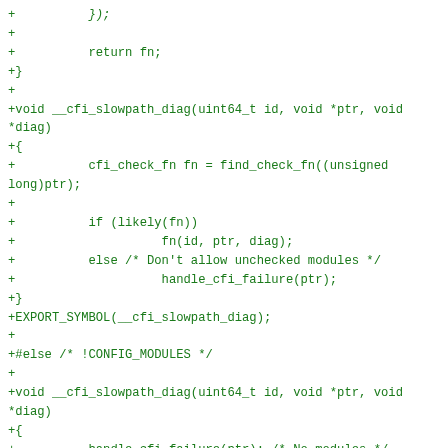+          });
+
+          return fn;
+}
+
+void __cfi_slowpath_diag(uint64_t id, void *ptr, void *diag)
+{
+          cfi_check_fn fn = find_check_fn((unsigned long)ptr);
+
+          if (likely(fn))
+                    fn(id, ptr, diag);
+          else /* Don't allow unchecked modules */
+                    handle_cfi_failure(ptr);
+}
+EXPORT_SYMBOL(__cfi_slowpath_diag);
+
+#else /* !CONFIG_MODULES */
+
+void __cfi_slowpath_diag(uint64_t id, void *ptr, void *diag)
+{
+          handle_cfi_failure(ptr); /* No modules */
+}
+EXPORT_SYMBOL(__cfi_slowpath_diag);
+
+#endif /* CONFIG_MODULES */
+
+void cfi_failure_handler(void *data, void *ptr, void *diag)